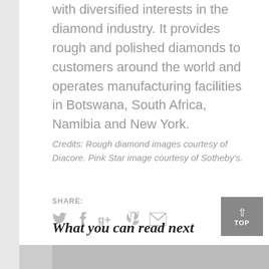with diversified interests in the diamond industry. It provides rough and polished diamonds to customers around the world and operates manufacturing facilities in Botswana, South Africa, Namibia and New York.
Credits: Rough diamond images courtesy of Diacore. Pink Star image courtesy of Sotheby's.
SHARE:
What you can read next
[Figure (screenshot): Bottom image strip partially visible at page bottom]